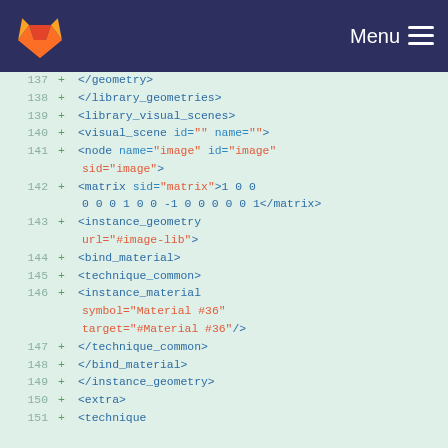Menu
137  +     </geometry>
138  +  </library_geometries>
139  +  <library_visual_scenes>
140  +     <visual_scene id="" name="">
141  +        <node name="image" id="image" sid="image">
142  +           <matrix sid="matrix">1 0 0 0 0 0 1 0 0 -1 0 0 0 0 0 1</matrix>
143  +           <instance_geometry url="#image-lib">
144  +              <bind_material>
145  +                 <technique_common>
146  +                    <instance_material symbol="Material #36" target="#Material #36"/>
147  +                 </technique_common>
148  +              </bind_material>
149  +           </instance_geometry>
150  +           <extra>
151  +              <technique